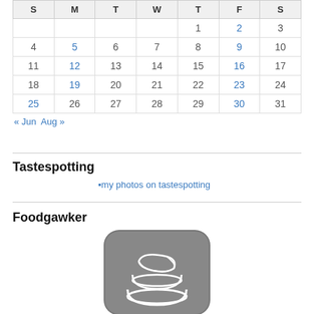| S | M | T | W | T | F | S |
| --- | --- | --- | --- | --- | --- | --- |
|  |  |  |  | 1 | 2 | 3 |
| 4 | 5 | 6 | 7 | 8 | 9 | 10 |
| 11 | 12 | 13 | 14 | 15 | 16 | 17 |
| 18 | 19 | 20 | 21 | 22 | 23 | 24 |
| 25 | 26 | 27 | 28 | 29 | 30 | 31 |
« Jun   Aug »
Tastespotting
[Figure (other): Broken image placeholder: my photos on tastespotting]
Foodgawker
[Figure (logo): Foodgawker app icon: dark rounded square with stacked bowls icon in white]